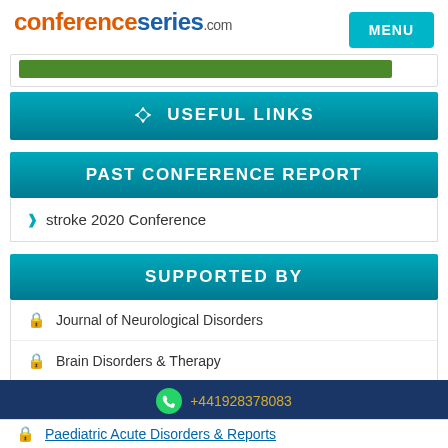conferenceseries.com
USEFUL LINKS
PAST CONFERENCE REPORT
stroke 2020 Conference
SUPPORTED BY
Journal of Neurological Disorders
Brain Disorders & Therapy
+441928378083